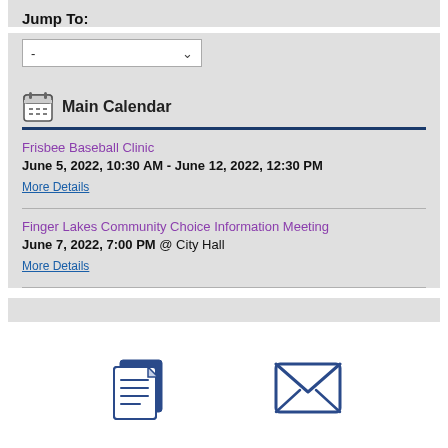Jump To:
[Figure (screenshot): Dropdown selector with dash placeholder and chevron arrow]
[Figure (other): Calendar icon next to 'Main Calendar' heading]
Main Calendar
Frisbee Baseball Clinic
June 5, 2022, 10:30 AM - June 12, 2022, 12:30 PM
More Details
Finger Lakes Community Choice Information Meeting
June 7, 2022, 7:00 PM @ City Hall
More Details
[Figure (illustration): Documents/clipboard icon in navy blue]
[Figure (illustration): Envelope/mail icon in navy blue]